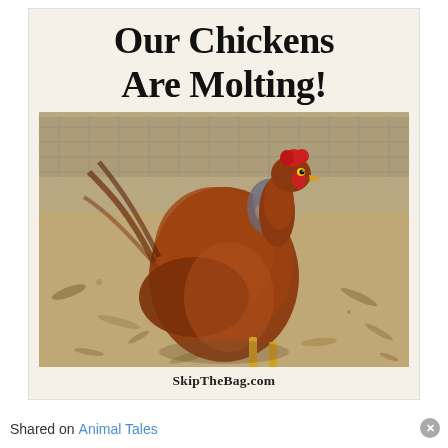Our Chickens Are Molting!
[Figure (photo): A brown molting chicken standing on dirt and wood chip ground, looking toward the right, with sparse feathers especially around the neck area. A wire fence is visible in the background.]
SkipTheBag.com
Shared on Animal Tales